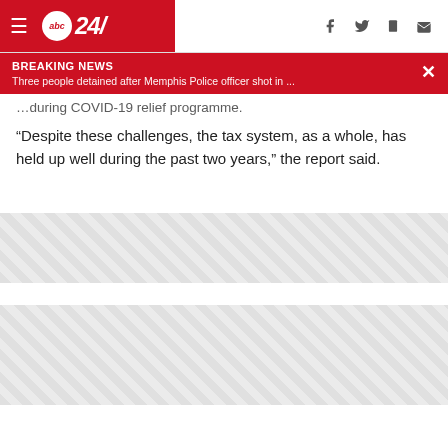abc24/ navigation bar with hamburger menu, logo, and social icons (f, twitter, mobile, mail)
BREAKING NEWS
Three people detained after Memphis Police officer shot in ...
...during COVID-19 relief programme.
“Despite these challenges, the tax system, as a whole, has held up well during the past two years,” the report said.
[Figure (other): Advertisement placeholder with diagonal stripe pattern]
[Figure (other): Advertisement placeholder with diagonal stripe pattern]